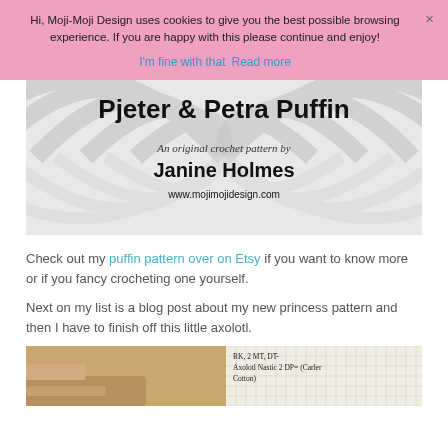Hi, Moji-Moji Design uses cookies to give you the best possible browsing experience. If you are happy with this please continue and enjoy!
I'm fine with that   Read more
[Figure (illustration): Cover image for 'Pjeter & Petra Puffin' crochet pattern by Janine Holmes, www.mojimojidesign.com, with swirl background]
Check out my puffin pattern over on Etsy if you want to know more or if you fancy crocheting one yourself.
Next on my list is a blog post about my new princess pattern and then I have to finish off this little axolotl.
[Figure (photo): Partial view of handwritten notes on grid paper, possibly pattern notes for the axolotl project]